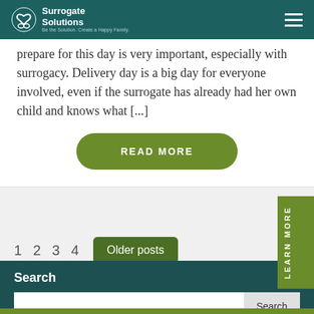Surrogate Solutions
prepare for this day is very important, especially with surrogacy. Delivery day is a big day for everyone involved, even if the surrogate has already had her own child and knows what [...]
READ MORE
1  2  3  4  Older posts
LEARN MORE
Search
Search